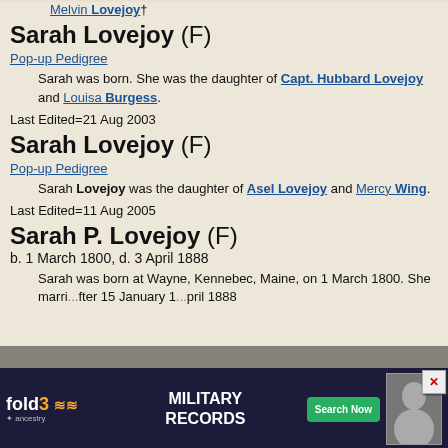Melvin Lovejoy†
Sarah Lovejoy (F)
Pop-up Pedigree
Sarah was born. She was the daughter of Capt. Hubbard Lovejoy and Louisa Burgess.
Last Edited=21 Aug 2003
Sarah Lovejoy (F)
Pop-up Pedigree
Sarah Lovejoy was the daughter of Asel Lovejoy and Mercy Wing.
Last Edited=11 Aug 2005
Sarah P. Lovejoy (F)
b. 1 March 1800, d. 3 April 1888
Sarah was born at Wayne, Kennebec, Maine, on 1 March 1800. She marri... after 15 January 1... April 1888
[Figure (other): fold3 Military Records advertisement banner with close button]